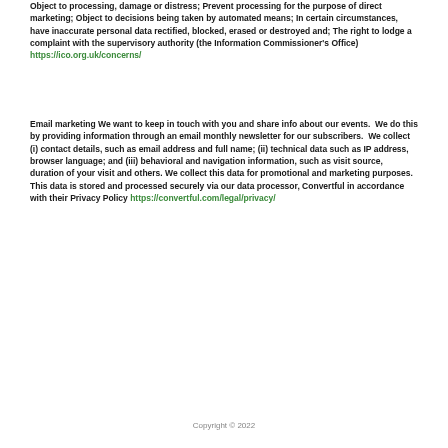Object to processing, damage or distress; Prevent processing for the purpose of direct marketing; Object to decisions being taken by automated means; In certain circumstances, have inaccurate personal data rectified, blocked, erased or destroyed and; The right to lodge a complaint with the supervisory authority (the Information Commissioner's Office) https://ico.org.uk/concerns/
Email marketing We want to keep in touch with you and share info about our events.  We do this by providing information through an email monthly newsletter for our subscribers.  We collect (i) contact details, such as email address and full name; (ii) technical data such as IP address, browser language; and (iii) behavioral and navigation information, such as visit source, duration of your visit and others. We collect this data for promotional and marketing purposes. This data is stored and processed securely via our data processor, Convertful in accordance with their Privacy Policy https://convertful.com/legal/privacy/
Copyright © 2022